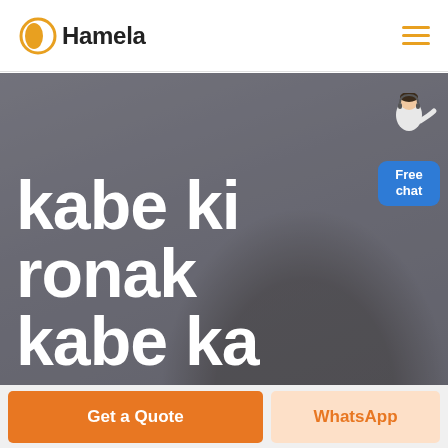Hamela
[Figure (screenshot): Hero banner with blurred background showing a person wearing glasses, overlaid with large white bold text reading 'kabe ki ronak kabe ka'. A small customer service agent figure and a blue 'Free chat' badge appear in the upper right of the hero area.]
kabe ki ronak kabe ka
Get a Quote
WhatsApp